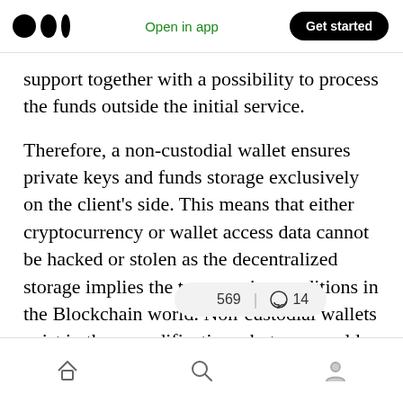Open in app | Get started
support together with a possibility to process the funds outside the initial service.
Therefore, a non-custodial wallet ensures private keys and funds storage exclusively on the client's side. This means that either cryptocurrency or wallet access data cannot be hacked or stolen as the decentralized storage implies the top security conditions in the Blockchain world. Non-custodial wallets exist in three modifications: hot ones, cold ones, and a hybrid of these two wallet types.
Home | Search | Profile